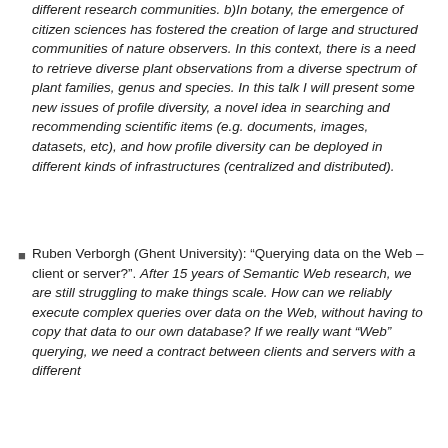different research communities. b)In botany, the emergence of citizen sciences has fostered the creation of large and structured communities of nature observers. In this context, there is a need to retrieve diverse plant observations from a diverse spectrum of plant families, genus and species. In this talk I will present some new issues of profile diversity, a novel idea in searching and recommending scientific items (e.g. documents, images, datasets, etc), and how profile diversity can be deployed in different kinds of infrastructures (centralized and distributed).
Ruben Verborgh (Ghent University): “Querying data on the Web – client or server?”. After 15 years of Semantic Web research, we are still struggling to make things scale. How can we reliably execute complex queries over data on the Web, without having to copy that data to our own database? If we really want “Web” querying, we need a contract between clients and servers with a different